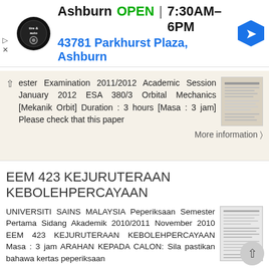[Figure (screenshot): Ad banner for Pep Boys Ashburn auto shop showing logo, OPEN status, hours 7:30AM-6PM, address 43781 Parkhurst Plaza Ashburn, and navigation arrow icon]
ester Examination 2011/2012 Academic Session January 2012 ESA 380/3 Orbital Mechanics [Mekanik Orbit] Duration : 3 hours [Masa : 3 jam] Please check that this paper
More information →
EEM 423 KEJURUTERAAN KEBOLEHPERCAYAAN
UNIVERSITI SAINS MALAYSIA Peperiksaan Semester Pertama Sidang Akademik 2010/2011 November 2010 EEM 423 KEJURUTERAAN KEBOLEHPERCAYAAN Masa : 3 jam ARAHAN KEPADA CALON: Sila pastikan bahawa kertas peperiksaan